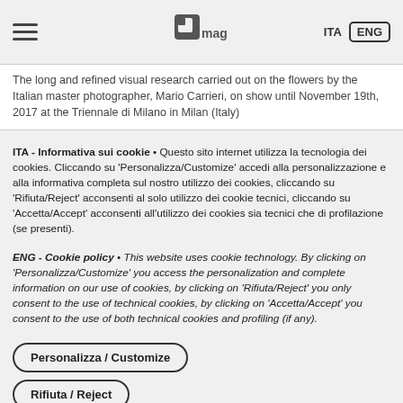ITA | ENG | pfmag logo
The long and refined visual research carried out on the flowers by the Italian master photographer, Mario Carrieri, on show until November 19th, 2017 at the Triennale di Milano in Milan (Italy)
ITA - Informativa sui cookie • Questo sito internet utilizza la tecnologia dei cookies. Cliccando su 'Personalizza/Customize' accedi alla personalizzazione e alla informativa completa sul nostro utilizzo dei cookies, cliccando su 'Rifiuta/Reject' acconsenti al solo utilizzo dei cookie tecnici, cliccando su 'Accetta/Accept' acconsenti all'utilizzo dei cookies sia tecnici che di profilazione (se presenti).
ENG - Cookie policy • This website uses cookie technology. By clicking on 'Personalizza/Customize' you access the personalization and complete information on our use of cookies, by clicking on 'Rifiuta/Reject' you only consent to the use of technical cookies, by clicking on 'Accetta/Accept' you consent to the use of both technical cookies and profiling (if any).
Personalizza / Customize
Rifiuta / Reject
Accetta / Accept